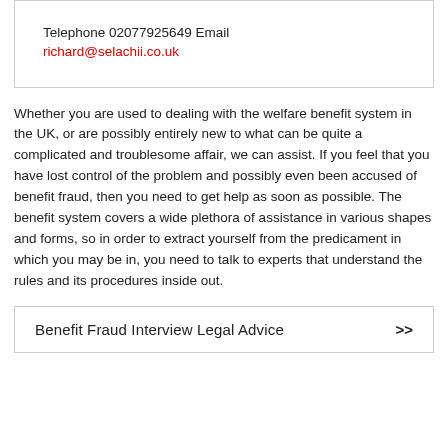Telephone 02077925649 Email richard@selachii.co.uk
Whether you are used to dealing with the welfare benefit system in the UK, or are possibly entirely new to what can be quite a complicated and troublesome affair, we can assist. If you feel that you have lost control of the problem and possibly even been accused of benefit fraud, then you need to get help as soon as possible. The benefit system covers a wide plethora of assistance in various shapes and forms, so in order to extract yourself from the predicament in which you may be in, you need to talk to experts that understand the rules and its procedures inside out.
Benefit Fraud Interview Legal Advice >>